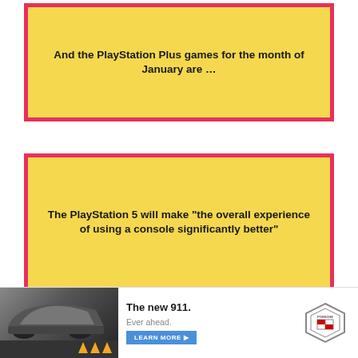And the PlayStation Plus games for the month of January are …
The PlayStation 5 will make “the overall experience of using a console significantly better”
Nintendo Switch surpasses sales of PlayStation 2 in its
[Figure (photo): Advertisement banner for Porsche 911. Shows a Porsche car on a road with arrow road markings. Text reads 'The new 911. Ever ahead. LEARN MORE' with Porsche crest logo.]